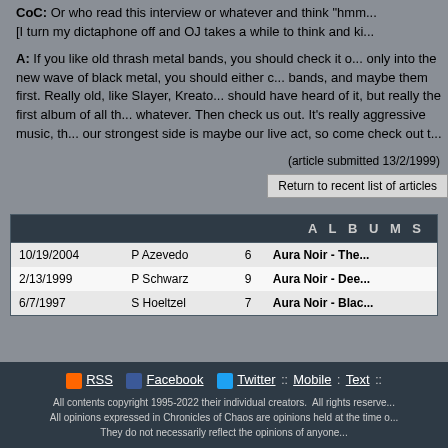CoC: Or who read this interview or whatever and think "hmm..."
[I turn my dictaphone off and OJ takes a while to think and ki...
A: If you like old thrash metal bands, you should check it o... only into the new wave of black metal, you should either c... bands, and maybe them first. Really old, like Slayer, Kreato... should have heard of it, but really the first album of all th... whatever. Then check us out. It's really aggressive music, th... our strongest side is maybe our live act, so come check out t...
(article submitted 13/2/1999)
Return to recent list of articles
| Date | Reviewer | Score | Album |
| --- | --- | --- | --- |
| 10/19/2004 | P Azevedo | 6 | Aura Noir - The... |
| 2/13/1999 | P Schwarz | 9 | Aura Noir - Dee... |
| 6/7/1997 | S Hoeltzel | 7 | Aura Noir - Blac... |
RSS  Facebook  Twitter  ::  Mobile : Text ::
All contents copyright 1995-2022 their individual creators. All rights reserve...
All opinions expressed in Chronicles of Chaos are opinions held at the time o... They do not necessarily reflect the opinions of anyone...